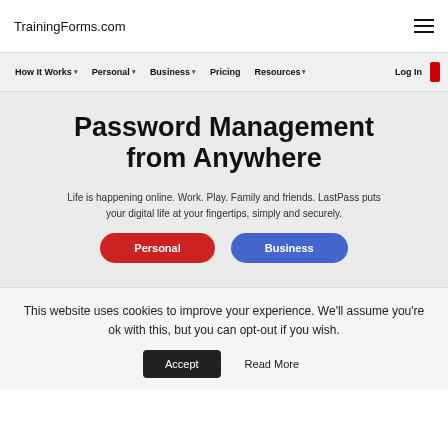TrainingForms.com
How It Works  Personal  Business  Pricing  Resources  Log In
Password Management from Anywhere
Life is happening online. Work. Play. Family and friends. LastPass puts your digital life at your fingertips, simply and securely.
Personal  Business
This website uses cookies to improve your experience. We'll assume you're ok with this, but you can opt-out if you wish. Accept  Read More